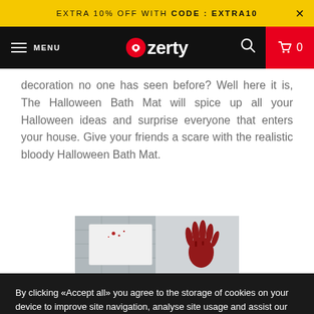EXTRA 10% OFF WITH CODE : EXTRA10
MENU | Ozerty | 0
decoration no one has seen before? Well here it is, The Halloween Bath Mat will spice up all your Halloween ideas and surprise everyone that enters your house. Give your friends a scare with the realistic bloody Halloween Bath Mat.
[Figure (photo): Photo of a white bath mat with bloody red handprint and blood splatter, displayed in a bathroom setting]
By clicking «Accept all» you agree to the storage of cookies on your device to improve site navigation, analyse site usage and assist our marketing efforts. Read more about our Privacy Policy.